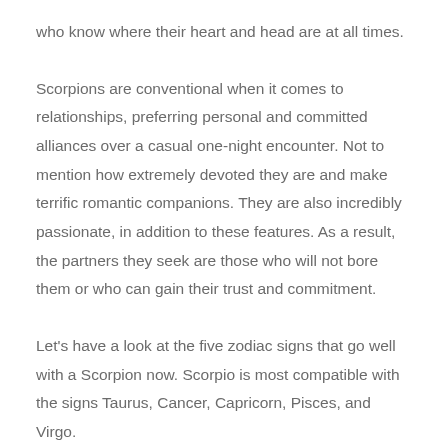who know where their heart and head are at all times.
Scorpions are conventional when it comes to relationships, preferring personal and committed alliances over a casual one-night encounter. Not to mention how extremely devoted they are and make terrific romantic companions. They are also incredibly passionate, in addition to these features. As a result, the partners they seek are those who will not bore them or who can gain their trust and commitment.
Let's have a look at the five zodiac signs that go well with a Scorpion now. Scorpio is most compatible with the signs Taurus, Cancer, Capricorn, Pisces, and Virgo.